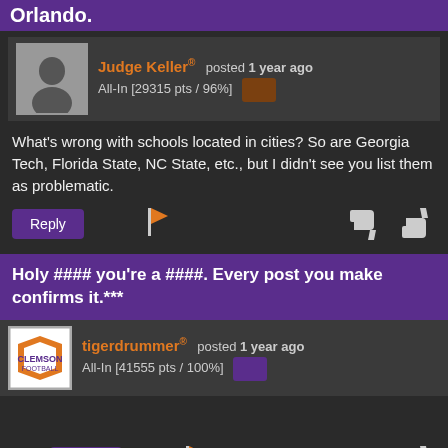Orlando.
Judge Keller® posted 1 year ago
All-In [29315 pts / 96%]
What's wrong with schools located in cities? So are Georgia Tech, Florida State, NC State, etc., but I didn't see you list them as problematic.
Reply [flag] [thumbs down] [thumbs up]
Holy #### you're a ####. Every post you make confirms it.***
tigerdrummer® posted 1 year ago
All-In [41555 pts / 100%]
Reply [flag] [thumbs down] [thumbs up]
UCF? Seriously????